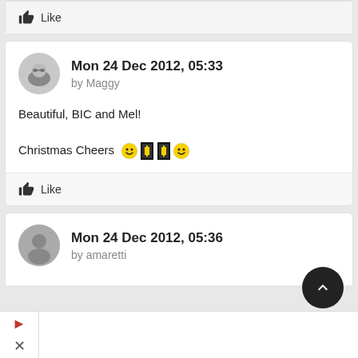Like
Mon 24 Dec 2012, 05:33 by Maggy
Beautiful, BIC and Mel!

Christmas Cheers 😊🎁🎁😊
Like
Mon 24 Dec 2012, 05:36 by amaretti